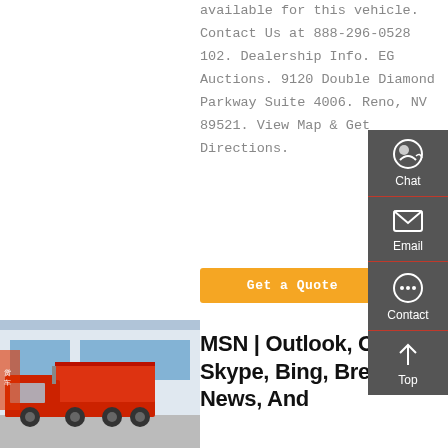available for this vehicle. Contact Us at 888-296-0528 102. Dealership Info. EG Auctions. 9120 Double Diamond Parkway Suite 4006. Reno, NV 89521. View Map & Get Directions.
Get a Quote
[Figure (photo): Red dump truck parked in front of a commercial building]
MSN | Outlook, Office, Skype, Bing, Breaking News, And